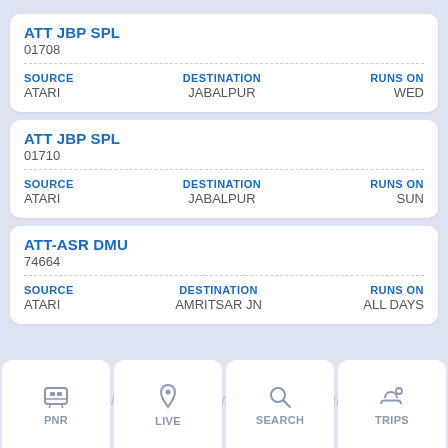ATT JBP SPL
01708
| SOURCE | DESTINATION | RUNS ON |
| --- | --- | --- |
| ATARI | JABALPUR | WED |
ATT JBP SPL
01710
| SOURCE | DESTINATION | RUNS ON |
| --- | --- | --- |
| ATARI | JABALPUR | SUN |
ATT-ASR DMU
74664
| SOURCE | DESTINATION | RUNS ON |
| --- | --- | --- |
| ATARI | AMRITSAR JN | ALL DAYS |
PNR  LIVE  SEARCH  TRIPS